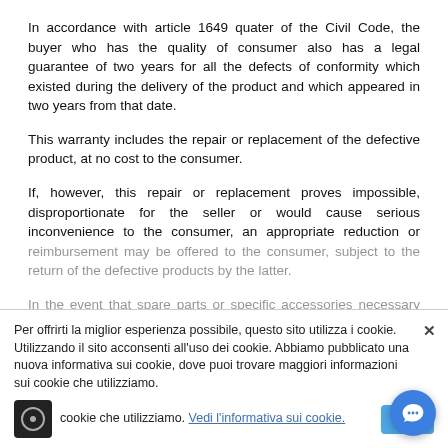In accordance with article 1649 quater of the Civil Code, the buyer who has the quality of consumer also has a legal guarantee of two years for all the defects of conformity which existed during the delivery of the product and which appeared in two years from that date.
This warranty includes the repair or replacement of the defective product, at no cost to the consumer.
If, however, this repair or replacement proves impossible, disproportionate for the seller or would cause serious inconvenience to the consumer, an appropriate reduction or reimbursement may be offered to the consumer, subject to the return of the defective products by the latter.
In the event that spare parts or specific accessories necessary for the repair of the product are no longer available from the manufacturer, the seller cannot be held responsible for the loss of the possibilities of use of the product.
The consumer is required to inform the seller of the existence of the lack of conformity, in writing, within a reasonable period... to claims.
...the invoice, the repair purchase are valid as guarantee certificates for the buyer...
Per offrirti la miglior esperienza possibile, questo sito utilizza i cookie. Utilizzando il sito acconsenti all'uso dei cookie. Abbiamo pubblicato una nuova informativa sui cookie, dove puoi trovare maggiori informazioni sui cookie che utilizziamo. Vedi l'informativa sui cookie. Ok